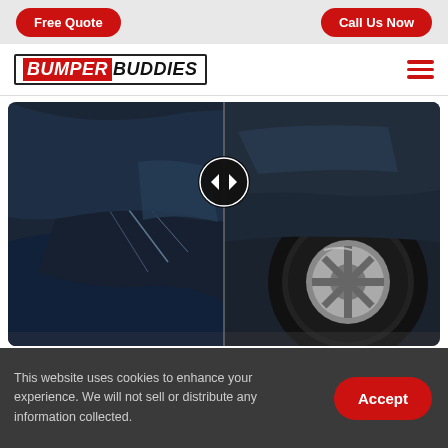Free Quote | Call Us Now
[Figure (logo): Bumper Buddies logo]
[Figure (photo): Before and after car bumper repair comparison image with a slider control in the center. Left side shows damaged front bumper with scratches; right side shows repaired rear bumper/wheel area.]
This website uses cookies to enhance your experience. We will not sell or distribute any information collected.